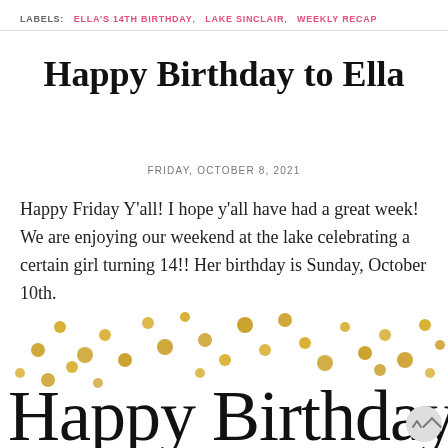LABELS: ELLA'S 14TH BIRTHDAY, LAKE SINCLAIR, WEEKLY RECAP
Happy Birthday to Ella
FRIDAY, OCTOBER 8, 2021
Happy Friday Y'all! I hope y'all have had a great week! We are enjoying our weekend at the lake celebrating a certain girl turning 14!! Her birthday is Sunday, October 10th.
[Figure (illustration): Gold confetti dots scattered across top with cursive 'Happy Birthday' script text below in black]